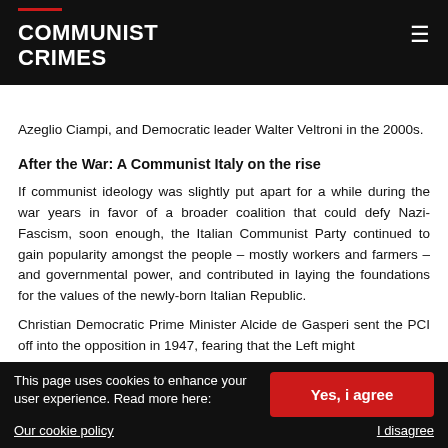COMMUNIST CRIMES
Azeglio Ciampi, and Democratic leader Walter Veltroni in the 2000s.
After the War: A Communist Italy on the rise
If communist ideology was slightly put apart for a while during the war years in favor of a broader coalition that could defy Nazi-Fascism, soon enough, the Italian Communist Party continued to gain popularity amongst the people – mostly workers and farmers – and governmental power, and contributed in laying the foundations for the values of the newly-born Italian Republic.
Christian Democratic Prime Minister Alcide de Gasperi sent the PCI off into the opposition in 1947, fearing that the Left might
This page uses cookies to enhance your user experience. Read more here:
Our cookie policy
Yes, i agree
I disagree